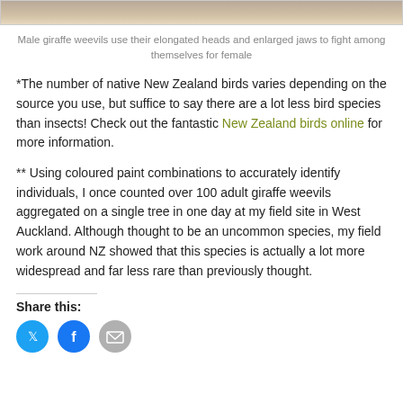[Figure (photo): Top portion of a photo showing giraffe weevils on tree bark/rocks, cropped at top of page]
Male giraffe weevils use their elongated heads and enlarged jaws to fight among themselves for female
*The number of native New Zealand birds varies depending on the source you use, but suffice to say there are a lot less bird species than insects! Check out the fantastic New Zealand birds online for more information.
** Using coloured paint combinations to accurately identify individuals, I once counted over 100 adult giraffe weevils aggregated on a single tree in one day at my field site in West Auckland. Although thought to be an uncommon species, my field work around NZ showed that this species is actually a lot more widespread and far less rare than previously thought.
Share this: